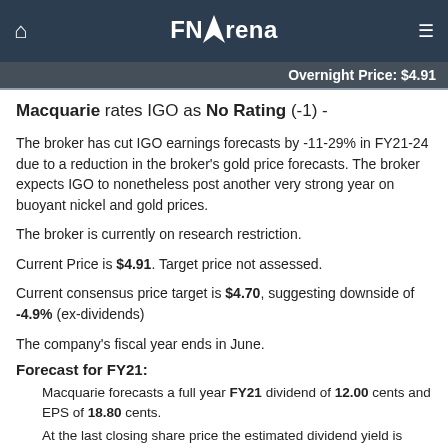FNArena
Overnight Price: $4.91
Macquarie rates IGO as No Rating (-1) -
The broker has cut IGO earnings forecasts by -11-29% in FY21-24 due to a reduction in the broker's gold price forecasts. The broker expects IGO to nonetheless post another very strong year on buoyant nickel and gold prices.
The broker is currently on research restriction.
Current Price is $4.91. Target price not assessed.
Current consensus price target is $4.70, suggesting downside of -4.9% (ex-dividends)
The company's fiscal year ends in June.
Forecast for FY21:
Macquarie forecasts a full year FY21 dividend of 12.00 cents and EPS of 18.80 cents.
At the last closing share price the estimated dividend yield is 2.44%.
At the last closing share price the stock's estimated Price to